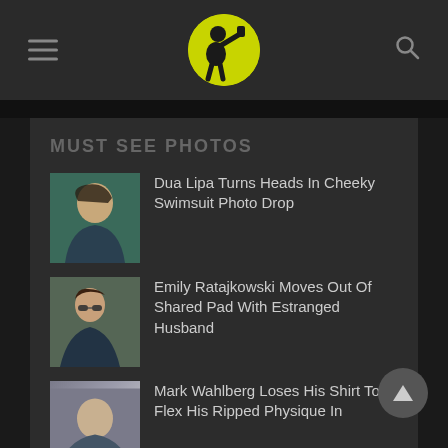[Figure (logo): Website logo: lime green circle with black silhouette of person drinking]
MUST SEE PHOTOS
[Figure (photo): Thumbnail photo of Dua Lipa]
Dua Lipa Turns Heads In Cheeky Swimsuit Photo Drop
[Figure (photo): Thumbnail photo of Emily Ratajkowski]
Emily Ratajkowski Moves Out Of Shared Pad With Estranged Husband
[Figure (photo): Thumbnail photo of Mark Wahlberg]
Mark Wahlberg Loses His Shirt To Flex His Ripped Physique In